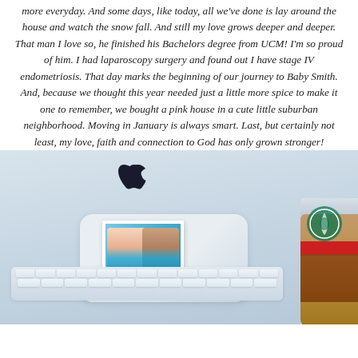more everyday. And some days, like today, all we've done is lay around the house and watch the snow fall. And still my love grows deeper and deeper. That man I love so, he finished his Bachelors degree from UCM! I'm so proud of him. I had laparoscopy surgery and found out I have stage IV endometriosis. That day marks the beginning of our journey to Baby Smith. And, because we thought this year needed just a little more spice to make it one to remember, we bought a pink house in a cute little suburban neighborhood. Moving in January is always smart. Last, but certainly not least, my love, faith and connection to God has only grown stronger!
[Figure (photo): Photo of an Apple iMac setup showing the keyboard, trackpad with a polaroid photo of a couple (woman and man), an Apple logo visible on the monitor, and a Starbucks holiday red cup on the right side.]